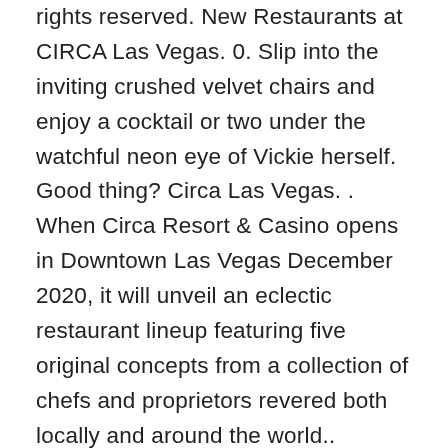rights reserved. New Restaurants at CIRCA Las Vegas. 0. Slip into the inviting crushed velvet chairs and enjoy a cocktail or two under the watchful neon eye of Vickie herself. Good thing? Circa Las Vegas. . When Circa Resort & Casino opens in Downtown Las Vegas December 2020, it will unveil an eclectic restaurant lineup featuring five original concepts from a collection of chefs and proprietors revered both locally and around the world.. Honoring Las Vegas' past, redefining its present, and making an indelible mark on its future. Lyoubi served as general manager for N9NE Steakhouse and Bazaar Meat by José Andrés, and most recently held the title of director of fine dining at the Palms Resort & Casino. The café also will feature a custom coffee blend exclusive to Circa. LAS VEGAS – The 777-room hotel tower of Circa Resort & Casino is officially open. Sip signature cocktails at the gold bar top, chill in the